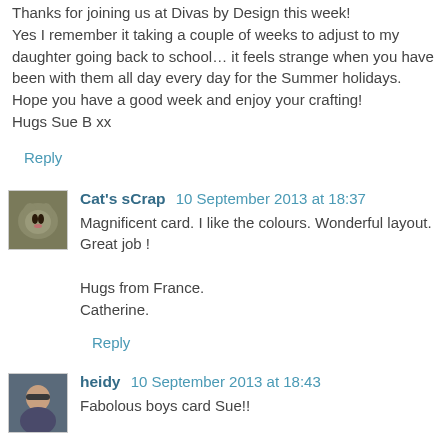Thanks for joining us at Divas by Design this week! Yes I remember it taking a couple of weeks to adjust to my daughter going back to school… it feels strange when you have been with them all day every day for the Summer holidays.
Hope you have a good week and enjoy your crafting!
Hugs Sue B xx
Reply
Cat's sCrap  10 September 2013 at 18:37
Magnificent card. I like the colours. Wonderful layout. Great job !

Hugs from France.
Catherine.
Reply
heidy  10 September 2013 at 18:43
Fabolous boys card Sue!!